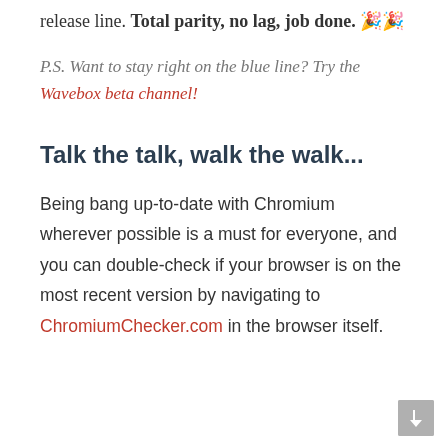release line. Total parity, no lag, job done. 🎉🎉
P.S. Want to stay right on the blue line? Try the Wavebox beta channel!
Talk the talk, walk the walk...
Being bang up-to-date with Chromium wherever possible is a must for everyone, and you can double-check if your browser is on the most recent version by navigating to ChromiumChecker.com in the browser itself.